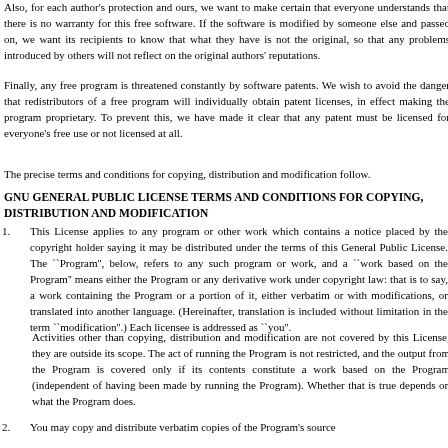Also, for each author's protection and ours, we want to make certain that everyone understands that there is no warranty for this free software. If the software is modified by someone else and passed on, we want its recipients to know that what they have is not the original, so that any problems introduced by others will not reflect on the original authors' reputations.
Finally, any free program is threatened constantly by software patents. We wish to avoid the danger that redistributors of a free program will individually obtain patent licenses, in effect making the program proprietary. To prevent this, we have made it clear that any patent must be licensed for everyone's free use or not licensed at all.
The precise terms and conditions for copying, distribution and modification follow.
GNU GENERAL PUBLIC LICENSE TERMS AND CONDITIONS FOR COPYING, DISTRIBUTION AND MODIFICATION
1. This License applies to any program or other work which contains a notice placed by the copyright holder saying it may be distributed under the terms of this General Public License. The ``Program'', below, refers to any such program or work, and a ``work based on the Program'' means either the Program or any derivative work under copyright law: that is to say, a work containing the Program or a portion of it, either verbatim or with modifications, or translated into another language. (Hereinafter, translation is included without limitation in the term ``modification''.) Each licensee is addressed as ``you''.
Activities other than copying, distribution and modification are not covered by this License; they are outside its scope. The act of running the Program is not restricted, and the output from the Program is covered only if its contents constitute a work based on the Program (independent of having been made by running the Program). Whether that is true depends on what the Program does.
2. You may copy and distribute verbatim copies of the Program's source code as you receive it, in any medium, provided that you conspicuously and appropriately publish on each copy an appropriate copyright notice and disclaimer of warranty;